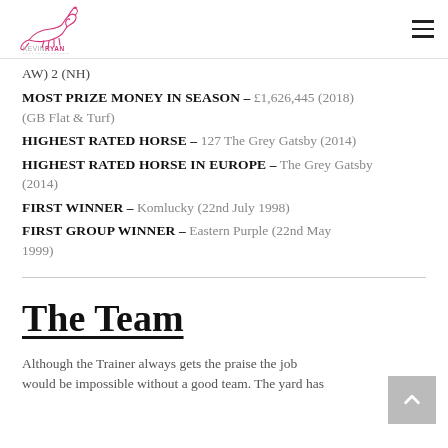Kevin Ryan Racehorse Trainer
AW) 2 (NH)
MOST PRIZE MONEY IN SEASON – £1,626,445 (2018) (GB Flat & Turf)
HIGHEST RATED HORSE – 127 The Grey Gatsby (2014)
HIGHEST RATED HORSE IN EUROPE – The Grey Gatsby (2014)
FIRST WINNER – Komlucky (22nd July 1998)
FIRST GROUP WINNER – Eastern Purple (22nd May 1999)
The Team
Although the Trainer always gets the praise the job would be impossible without a good team. The yard has